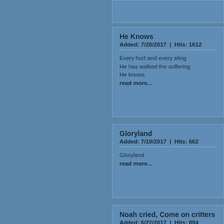He Knows
Added: 7/20/2017 | Hits: 1612
Every hurt and every sting
He has walked the suffering
He knows
read more...
Gloryland
Added: 7/19/2017 | Hits: 662
Gloryland
read more...
Noah cried, Come on critters
Added: 6/22/2017 | Hits: 894
Noah cried, "Come on, critters, all aboard f

So they sailed away on a rainy day, with th
read more...